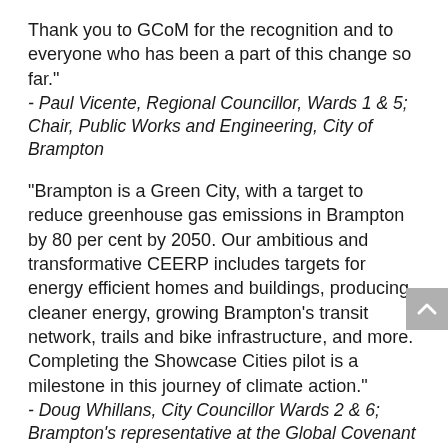Thank you to GCoM for the recognition and to everyone who has been a part of this change so far."
- Paul Vicente, Regional Councillor, Wards 1 & 5; Chair, Public Works and Engineering, City of Brampton
“Brampton is a Green City, with a target to reduce greenhouse gas emissions in Brampton by 80 per cent by 2050. Our ambitious and transformative CEERP includes targets for energy efficient homes and buildings, producing cleaner energy, growing Brampton’s transit network, trails and bike infrastructure, and more. Completing the Showcase Cities pilot is a milestone in this journey of climate action."
- Doug Whillans, City Councillor Wards 2 & 6; Brampton’s representative at the Global Covenant of Mayors for Climate Change and Energy; Member, CEERP Community Task Force, City of Brampton
“City staff are committed to sustainability, low-carbon